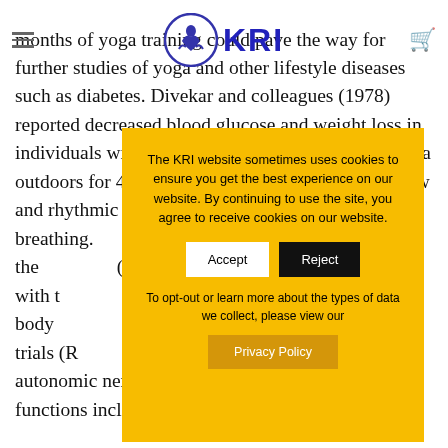KRI (Kundalini Research Institute) — site header with hamburger menu, KRI logo, and cart icon
months of yoga training could pave the way for further studies of yoga and other lifestyle diseases such as diabetes. Divekar and colleagues (1978) reported decreased blood glucose and weight loss in individuals with chronic diabetes who practiced yoga outdoors for 45-minutes once a day and utilized slow and rhythmic movements with an emphasis on slow breathing. … also evaluated the effects of pranayama (breath techniques)… continued with the yoga program… too noted a significant… estimated body… days. From the randomized control trials (R… induces hypotha… autonomic nerv… influence other endocrine functions including insulin
[Figure (screenshot): Cookie consent modal overlay with yellow/amber background. Text reads: 'The KRI website sometimes uses cookies to ensure you get the best experience on our website. By continuing to use the site, you agree to receive cookies on our website.' Two buttons: 'Accept' (white background) and 'Reject' (black background). Below: 'To opt-out or learn more about the types of data we collect, please view our' followed by a 'Privacy Policy' button in amber/orange.]